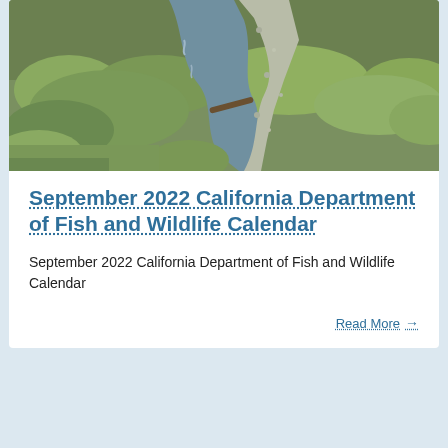[Figure (photo): Aerial or ground-level view of a shallow stream or creek winding through grassy, rocky terrain with green and golden marsh grasses and gravel banks, taken in natural outdoor setting.]
September 2022 California Department of Fish and Wildlife Calendar
September 2022 California Department of Fish and Wildlife Calendar
Read More →